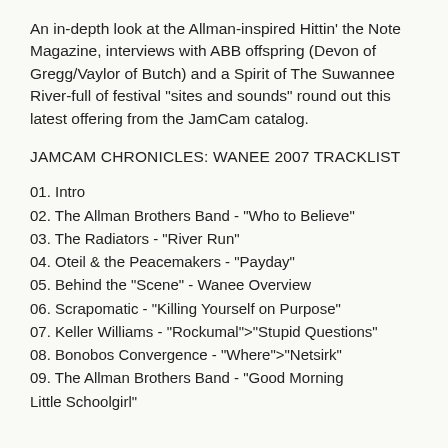An in-depth look at the Allman-inspired Hittin' the Note Magazine, interviews with ABB offspring (Devon of Gregg/Vaylor of Butch) and a Spirit of The Suwannee River-full of festival "sites and sounds" round out this latest offering from the JamCam catalog.
JAMCAM CHRONICLES: WANEE 2007 TRACKLIST
01. Intro
02. The Allman Brothers Band - "Who to Believe"
03. The Radiators - "River Run"
04. Oteil & the Peacemakers - "Payday"
05. Behind the "Scene" - Wanee Overview
06. Scrapomatic - "Killing Yourself on Purpose"
07. Keller Williams - "Rockumal">"Stupid Questions"
08. Bonobos Convergence - "Where">"Netsirk"
09. The Allman Brothers Band - "Good Morning Little Schoolgirl"